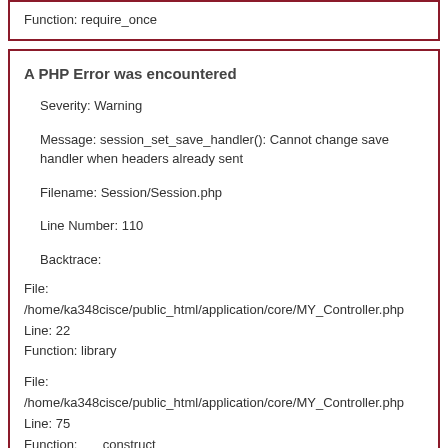Function: require_once
A PHP Error was encountered
Severity: Warning
Message: session_set_save_handler(): Cannot change save handler when headers already sent
Filename: Session/Session.php
Line Number: 110
Backtrace:
File:
/home/ka348cisce/public_html/application/core/MY_Controller.php
Line: 22
Function: library
File:
/home/ka348cisce/public_html/application/core/MY_Controller.php
Line: 75
Function: __construct